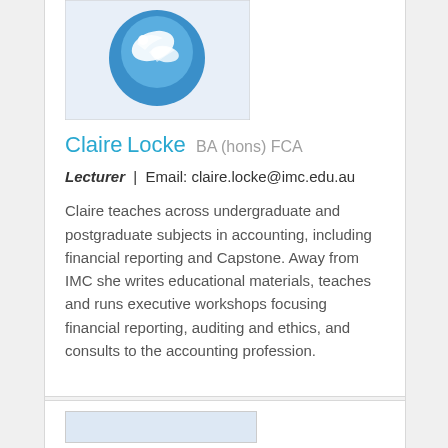[Figure (photo): Profile photo of Claire Locke — blue circular icon with dove/bird graphic on blue background]
Claire Locke BA (hons) FCA
Lecturer | Email: claire.locke@imc.edu.au
Claire teaches across undergraduate and postgraduate subjects in accounting, including financial reporting and Capstone. Away from IMC she writes educational materials, teaches and runs executive workshops focusing financial reporting, auditing and ethics, and consults to the accounting profession.
Financial Reporting | Ethics | Social Impact
[Figure (photo): Partial profile image of another person, cropped at bottom of page]